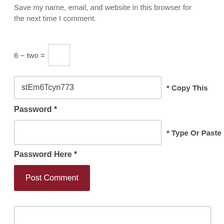Save my name, email, and website in this browser for the next time I comment.
stEm6Tcyn773
* Copy This
Password *
* Type Or Paste
Password Here *
Post Comment